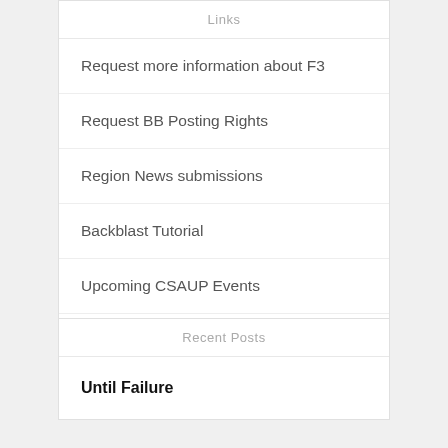Links
Request more information about F3
Request BB Posting Rights
Region News submissions
Backblast Tutorial
Upcoming CSAUP Events
Looking for Conway? F3republic.com
Recent Posts
Until Failure